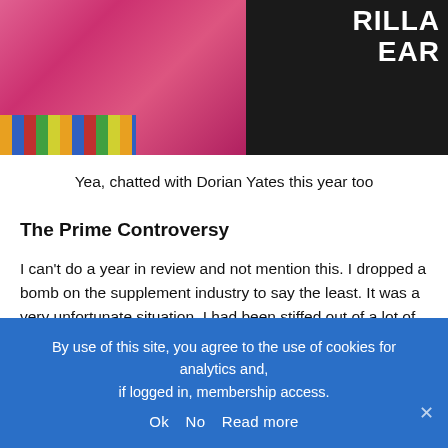[Figure (photo): Photo of two people: one in a pink shirt on the left, one in a black shirt with white text reading 'GORILLA WEAR' on the right. A colorful striped floor/carpet is visible in the background.]
Yea, chatted with Dorian Yates this year too
The Prime Controversy
I can't do a year in review and not mention this. I dropped a bomb on the supplement industry to say the least. It was a very unfortunate situation. I had been stiffed out of a lot of money, and had uncovered products with my name on them were not being dosed correctly. I remember being in Iowa guest posing, and running into the 2 awesome kids who were 19 years old. They told me they had saved up and were buying products from Prime
By use of this site, you agree to the use of cookies for analytics and, if logged in, membership access.
Ok  No  Read more